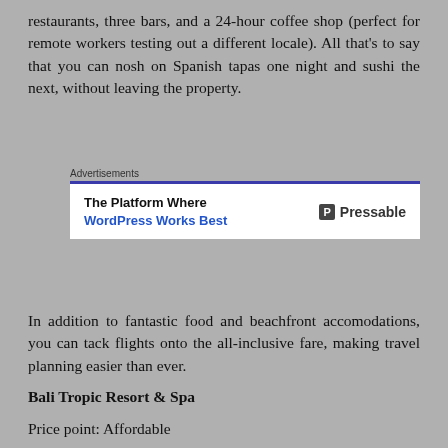restaurants, three bars, and a 24-hour coffee shop (perfect for remote workers testing out a different locale). All that's to say that you can nosh on Spanish tapas one night and sushi the next, without leaving the property.
[Figure (other): Advertisement banner for Pressable: 'The Platform Where WordPress Works Best' with Pressable logo on the right.]
In addition to fantastic food and beachfront accomodations, you can tack flights onto the all-inclusive fare, making travel planning easier than ever.
Bali Tropic Resort & Spa
Price point: Affordable